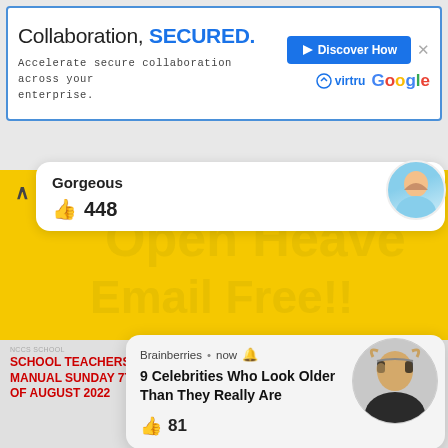[Figure (screenshot): Advertisement banner: 'Collaboration, SECURED.' with Virtru and Google logos and 'Discover How' button]
Gorgeous
448
Open Heavenly
Email Free!!
Brainberries • now
9 Celebrities Who Look Older Than They Really Are
81
Email Address
Sign Me Up
SCHOOL TEACHERS' MANUAL SUNDAY 7TH OF AUGUST 2022
SCHOOL STUDENTS' MANUAL SUNDAY 7TH OF AUGUST 2022